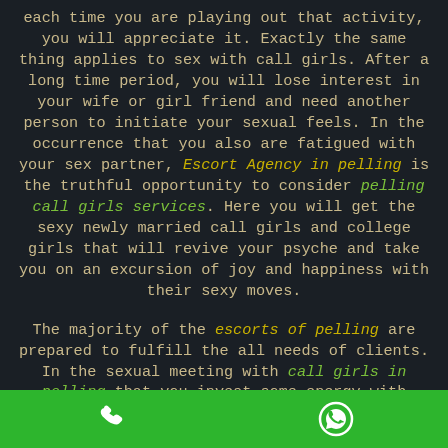each time you are playing out that activity, you will appreciate it. Exactly the same thing applies to sex with call girls. After a long time period, you will lose interest in your wife or girl friend and need another person to initiate your sexual feels. In the occurrence that you also are fatigued with your sex partner, Escort Agency in pelling is the truthful opportunity to consider pelling call girls services. Here you will get the sexy newly married call girls and college girls that will revive your psyche and take you on an excursion of joy and happiness with their sexy moves.

The majority of the escorts of pelling are prepared to fulfill the all needs of clients. In the sexual meeting with call girls in pelling that you invest some energy with them, you will find that their preparation has been genuinely magnificent. With regards flawlessly and sexual fulfillment, you can confide in them indiscriminately. With long stretches of involvement and astounding abilities in this field, it is very normal for
[Figure (other): Green footer bar with phone icon on the left and WhatsApp icon on the right]